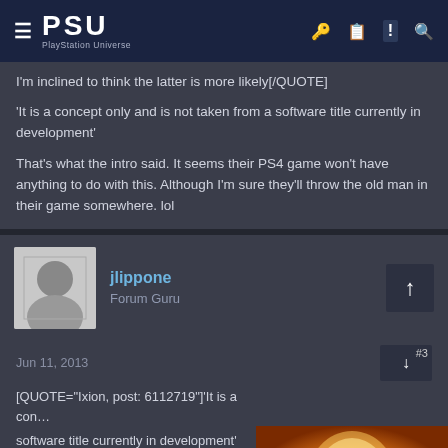PSU PlayStation Universe
I'm inclined to think the latter is more likely[/QUOTE]
'It is a concept only and is not taken from a software title currently in development'
That's what the intro said. It seems their PS4 game won't have anything to do with this. Although I'm sure they'll throw the old man in their game somewhere. lol
jlippone
Forum Guru
Jun 11, 2013  #3
[QUOTE="Ixion, post: 6112719"'It is a concept only and is not taken from a software title currently in development'
That's what the intro said. It seems their PS4 game won't have anything to do with this. Although I'm sure they'll throw the old man in their game somewhere. lol[/QUOTE]
[Figure (infographic): Advertisement overlay: MULTIVERSUS HAS DEBUTED AS THE BEST-SELLING GAME IN THE U.S. LAST MONTH with a warm glowing background image]